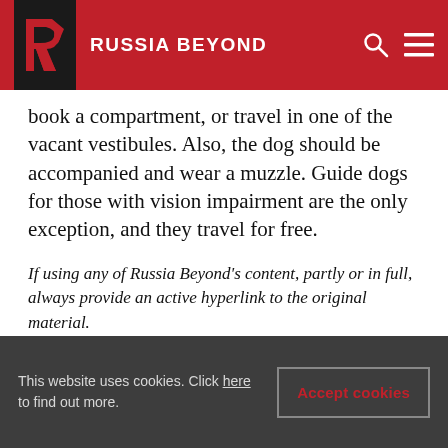RUSSIA BEYOND
book a compartment, or travel in one of the vacant vestibules. Also, the dog should be accompanied and wear a muzzle. Guide dogs for those with vision impairment are the only exception, and they travel for free.
If using any of Russia Beyond's content, partly or in full, always provide an active hyperlink to the original material.
TRANSPORT
TOURISM
DOG
ANIMAL
This website uses cookies. Click here to find out more.
Accept cookies